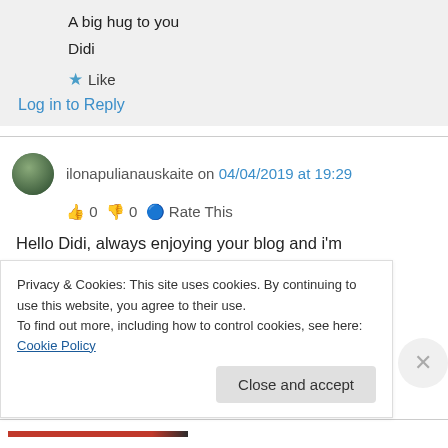A big hug to you
Didi
★ Like
Log in to Reply
ilonapulianauskaite on 04/04/2019 at 19:29
👍 0 👎 0 ℹ Rate This
Hello Didi, always enjoying your blog and i'm very to stop by. i believe. that there are spiritually
Privacy & Cookies: This site uses cookies. By continuing to use this website, you agree to their use.
To find out more, including how to control cookies, see here: Cookie Policy
Close and accept